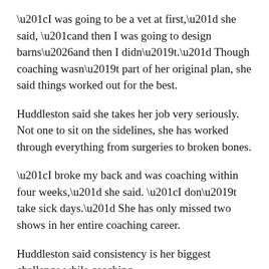“I was going to be a vet at first,” she said, “and then I was going to design barns…and then I didn’t.” Though coaching wasn’t part of her original plan, she said things worked out for the best.
Huddleston said she takes her job very seriously. Not one to sit on the sidelines, she has worked through everything from surgeries to broken bones.
“I broke my back and was coaching within four weeks,” she said. “I don’t take sick days.” She has only missed two shows in her entire coaching career.
Huddleston said consistency is her biggest challenge while coaching.
“We get a lot of people that come in, but they don’t want to, or can’t, find the time to come out and ride.”